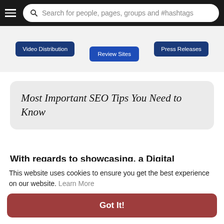Search for people, pages, groups and #hashtags
[Figure (infographic): Partial diagram showing three blue buttons: Video Distribution (left), Review Sites (center, darker blue), Press Releases (right), on a light grey background]
Most Important SEO Tips You Need to Know
With regards to showcasing, a Digital Marketing Agency USA is perhaps the best spot to turn. Their ability is clear in website architecture, UX
This website uses cookies to ensure you get the best experience on our website. Learn More
Got It!